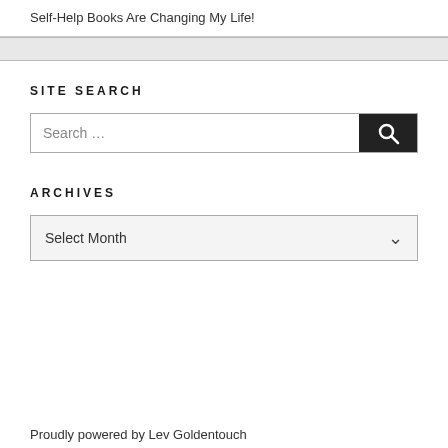Self-Help Books Are Changing My Life!
SITE SEARCH
Search …
ARCHIVES
Select Month
Proudly powered by Lev Goldentouch